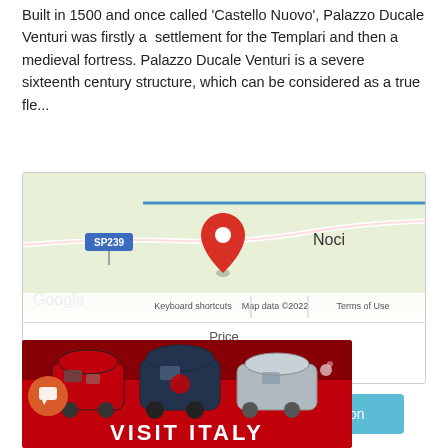Built in 1500 and once called 'Castello Nuovo', Palazzo Ducale Venturi was firstly a  settlement for the Templari and then a medieval fortress. Palazzo Ducale Venturi is a severe sixteenth century structure, which can be considered as a true fle...
[Figure (map): Google Maps embed showing location near Noci, Italy with a red pin marker. Shows SP239 road label, Google logo, Keyboard shortcuts, Map data ©2022, Terms of Use.]
Price
€on request
[Figure (infographic): Two buttons side by side: orange 'Submit Request' button and light blue 'More information' button.]
[Figure (photo): Advertisement banner with red background showing three high-speed Italian trains (Frecciarossa/Italo style) and text 'VISIT ITALY' at bottom. Orange chat bubble icon in bottom-left corner.]